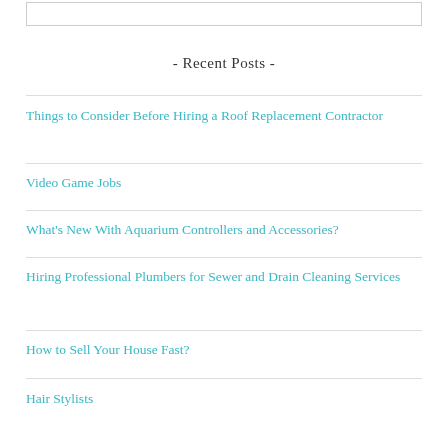- Recent Posts -
Things to Consider Before Hiring a Roof Replacement Contractor
Video Game Jobs
What's New With Aquarium Controllers and Accessories?
Hiring Professional Plumbers for Sewer and Drain Cleaning Services
How to Sell Your House Fast?
Hair Stylists